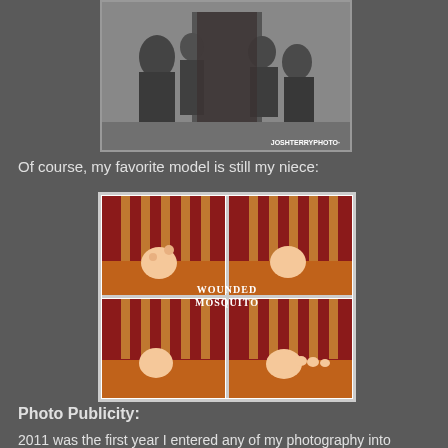[Figure (photo): Black and white family portrait photo showing adults and children near a door, with watermark JOSHTERRYPHOTO at bottom right]
Of course, my favorite model is still my niece:
[Figure (photo): Four-panel photo grid showing a baby peeking over a wooden table with red chairs in the background, watermark reads WOUNDED MOSQUITO]
Photo Publicity:
2011 was the first year I entered any of my photography into